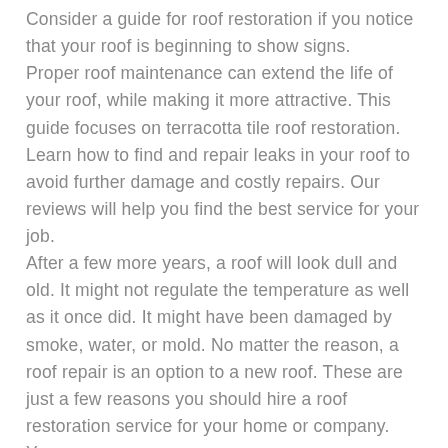Consider a guide for roof restoration if you notice that your roof is beginning to show signs. Proper roof maintenance can extend the life of your roof, while making it more attractive. This guide focuses on terracotta tile roof restoration. Learn how to find and repair leaks in your roof to avoid further damage and costly repairs. Our reviews will help you find the best service for your job. After a few more years, a roof will look dull and old. It might not regulate the temperature as well as it once did. It might have been damaged by smoke, water, or mold. No matter the reason, a roof repair is an option to a new roof. These are just a few reasons you should hire a roof restoration service for your home or company. You